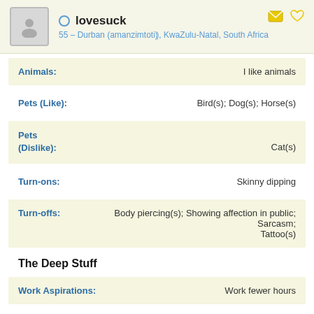lovesuck – 55 – Durban (amanzimtoti), KwaZulu-Natal, South Africa
Animals: I like animals
Pets (Like): Bird(s); Dog(s); Horse(s)
Pets (Dislike): Cat(s)
Turn-ons: Skinny dipping
Turn-offs: Body piercing(s); Showing affection in public; Sarcasm; Tattoo(s)
The Deep Stuff
Work Aspirations: Work fewer hours